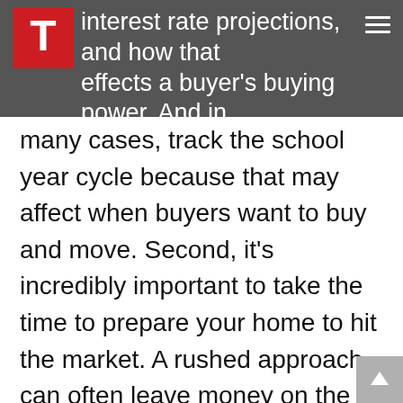interest rate projections, and how that effects a buyer's buying power. And in
many cases, track the school year cycle because that may affect when buyers want to buy and move. Second, it's incredibly important to take the time to prepare your home to hit the market. A rushed approach can often leave money on the table for sellers. I personally push sellers to meet months in advance so we can analyze what type of cost-effective improvements can be done to maximize their return.  In many